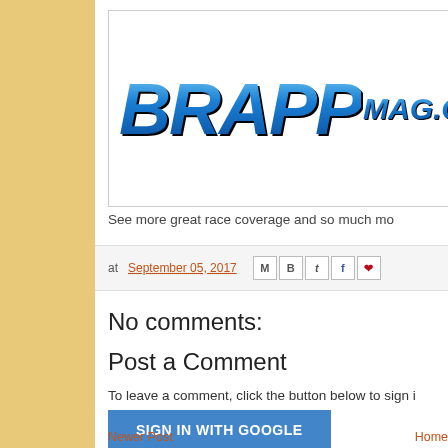[Figure (logo): BRAPPmag.c logo — large bold italic blue gradient text 'BRAPP' with 'MAG.C' superscript, black outline, on white background with gray border]
See more great race coverage and so much mo
at September 05, 2017
[Figure (other): Social share icons: Email (M), Blogger (B), Twitter (t), Facebook (f), Pinterest (p)]
No comments:
Post a Comment
To leave a comment, click the button below to sign i
[Figure (other): Blue 'SIGN IN WITH GOOGLE' button]
Newer Post    Home